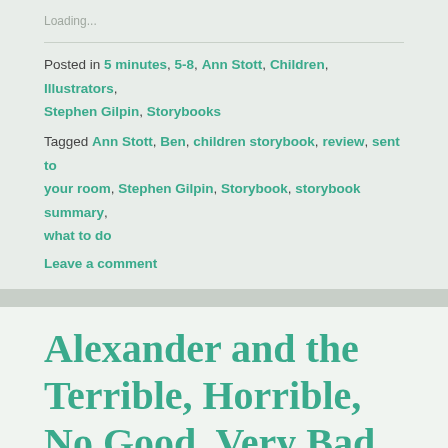Loading...
Posted in 5 minutes, 5-8, Ann Stott, Children, Illustrators, Stephen Gilpin, Storybooks
Tagged Ann Stott, Ben, children storybook, review, sent to your room, Stephen Gilpin, Storybook, storybook summary, what to do
Leave a comment
Alexander and the Terrible, Horrible, No Good, Very Bad Day by Judith Viorst